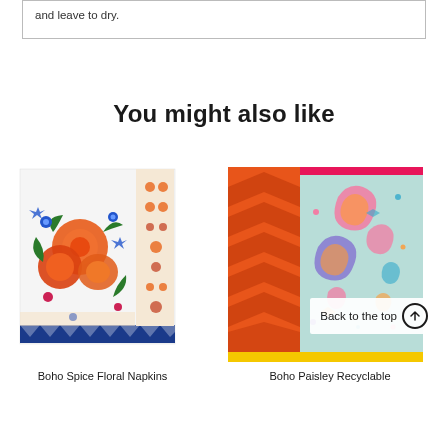and leave to dry.
You might also like
[Figure (photo): Boho Spice Floral Napkins product image showing a decorative napkin with orange roses and blue floral patterns]
Boho Spice Floral Napkins
[Figure (photo): Boho Paisley Recyclable product image showing colorful paisley pattern napkin in orange and mint colors]
Boho Paisley Recyclable